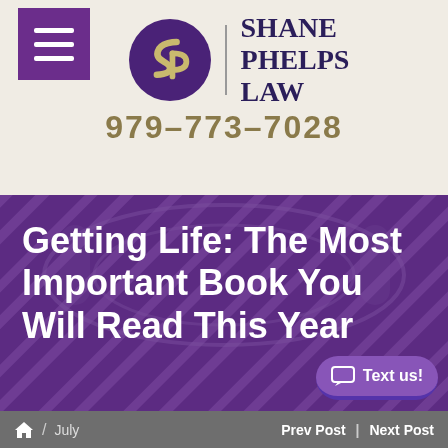Shane Phelps Law | 979-773-7028
Getting Life: The Most Important Book You Will Read This Year
Home / July | Prev Post | Next Post